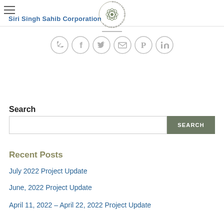Siri Singh Sahib Corporation
[Figure (logo): Circular floral/snowflake logo for a corporation, with text around the border reading 'ILIATION CORPORATION']
[Figure (infographic): Row of six circular social sharing icons: WhatsApp, Facebook, Twitter, Email, Pinterest, LinkedIn]
Search
[Figure (other): Search input box with a SEARCH button]
Recent Posts
July 2022 Project Update
June, 2022 Project Update
April 11, 2022 – April 22, 2022 Project Update